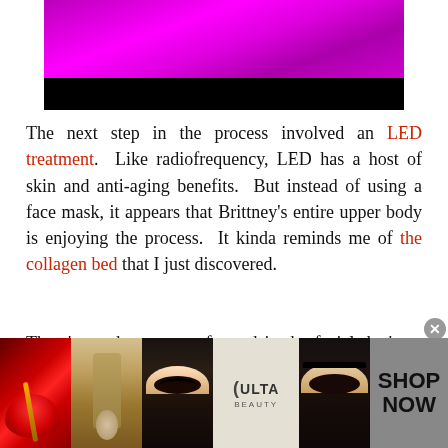[Figure (photo): Top portion of an image showing a magenta/purple and black gradient background, likely a person under LED light treatment]
The next step in the process involved an LED treatment. Like radiofrequency, LED has a host of skin and anti-aging benefits. But instead of using a face mask, it appears that Brittney's entire upper body is enjoying the process. It kinda reminds me of the collagen bed that I just discovered.
There's another step performed in the facial that's so foreign to me that I'm holding back on discussing it. I
[Figure (photo): Advertisement banner for Ulta Beauty showing makeup product images (lips with lipstick, makeup brush, eye with makeup, Ulta logo, eye with smoky makeup) with SHOP NOW text]